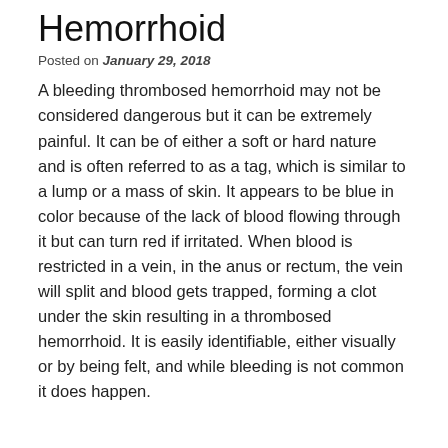Hemorrhoid
Posted on January 29, 2018
A bleeding thrombosed hemorrhoid may not be considered dangerous but it can be extremely painful. It can be of either a soft or hard nature and is often referred to as a tag, which is similar to a lump or a mass of skin. It appears to be blue in color because of the lack of blood flowing through it but can turn red if irritated. When blood is restricted in a vein, in the anus or rectum, the vein will split and blood gets trapped, forming a clot under the skin resulting in a thrombosed hemorrhoid. It is easily identifiable, either visually or by being felt, and while bleeding is not common it does happen.